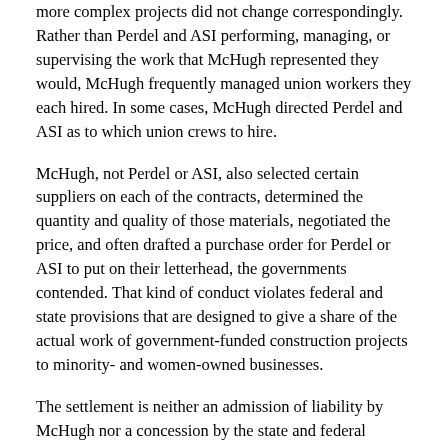more complex projects did not change correspondingly. Rather than Perdel and ASI performing, managing, or supervising the work that McHugh represented they would, McHugh frequently managed union workers they each hired. In some cases, McHugh directed Perdel and ASI as to which union crews to hire.
McHugh, not Perdel or ASI, also selected certain suppliers on each of the contracts, determined the quantity and quality of those materials, negotiated the price, and often drafted a purchase order for Perdel or ASI to put on their letterhead, the governments contended. That kind of conduct violates federal and state provisions that are designed to give a share of the actual work of government-funded construction projects to minority- and women-owned businesses.
The settlement is neither an admission of liability by McHugh nor a concession by the state and federal governments that their contentions are not well founded, and McHugh expressly denies the claims.
The settlement was reached on behalf of the U.S. Department of Transportation, the Illinois Department of Transportation, the Illinois State Toll Highway Authority, and the Regional Transportation Authority.
The separate three-year administrative monitoring settlement and compliance agreement was reached between McHugh and the Federal